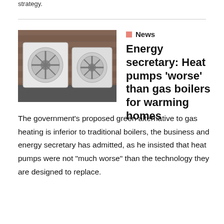strategy.
[Figure (photo): Two white heat pump units mounted outside a brick building]
News
Energy secretary: Heat pumps ‘worse’ than gas boilers for warming homes
The government’s proposed green alternative to gas heating is inferior to traditional boilers, the business and energy secretary has admitted, as he insisted that heat pumps were not “much worse” than the technology they are designed to replace.